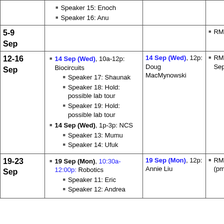| Week | Class Sessions | Lunch Seminar | Notes |
| --- | --- | --- | --- |
|  | Speaker 15: Enoch
Speaker 16: Anu |  |  |
| 5-9 Sep |  |  | RMM out, 5-9 Sep |
| 12-16 Sep | 14 Sep (Wed), 10a-12p: Biocircuits
Speaker 17: Shaunak
Speaker 18: Hold: possible lab tour
Speaker 19: Hold: possible lab tour
14 Sep (Wed), 1p-3p: NCS
Speaker 13: Mumu
Speaker 14: Ufuk | 14 Sep (Wed), 12p: Doug MacMynowski | RMM out, 12-13 Sep |
| 19-23 Sep | 19 Sep (Mon), 10:30a-12:00p: Robotics
Speaker 11: Eric
Speaker 12: Andrea | 19 Sep (Mon), 12p: Annie Liu | RMM out, 20 Sep (pm) to 23 Sep |